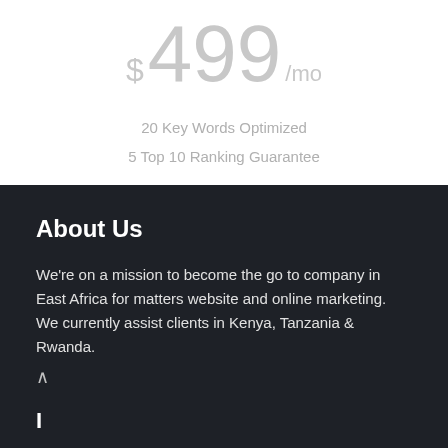$ 499 /mo
20 Key Words Optimized
5 Top 10 Ranking Guarantee
About Us
We're on a mission to become the go to company in East Africa for matters website and online marketing. We currently assist clients in Kenya, Tanzania & Rwanda.
^
I